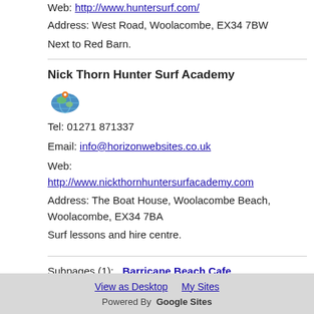Web: http://www.huntersurf.com/
Address: West Road, Woolacombe, EX34 7BW
Next to Red Barn.
Nick Thorn Hunter Surf Academy
[Figure (illustration): Small colorful map/location icon (globe-like icon in green, blue, orange)]
Tel: 01271 871337
Email: info@horizonwebsites.co.uk
Web: http://www.nickthornhuntersurfacademy.com
Address: The Boat House, Woolacombe Beach, Woolacombe, EX34 7BA
Surf lessons and hire centre.
Subpages (1):   Barricane Beach Cafe
View as Desktop   My Sites
Powered By  Google Sites